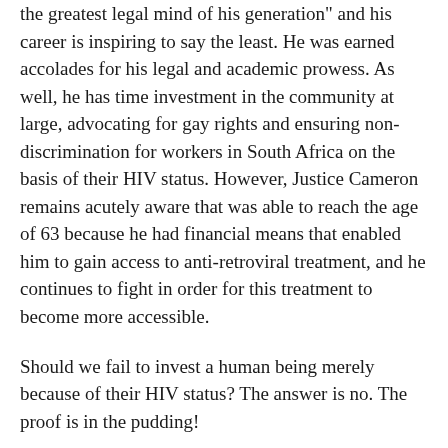the greatest legal mind of his generation" and his career is inspiring to say the least. He was earned accolades for his legal and academic prowess. As well, he has time investment in the community at large, advocating for gay rights and ensuring non-discrimination for workers in South Africa on the basis of their HIV status. However, Justice Cameron remains acutely aware that was able to reach the age of 63 because he had financial means that enabled him to gain access to anti-retroviral treatment, and he continues to fight in order for this treatment to become more accessible.
Should we fail to invest a human being merely because of their HIV status? The answer is no. The proof is in the pudding!
photo credit: Wheeler Cowperthwaite IMG_0492 via photonin (license)